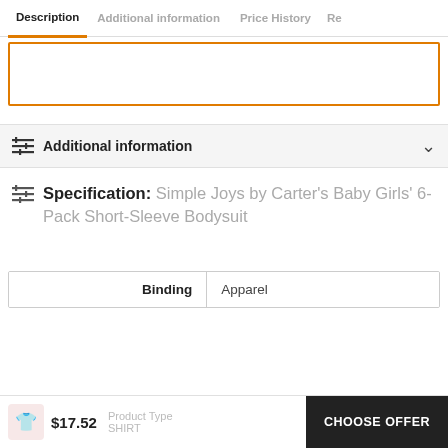Description | Additional information | Price History | Re
Additional information
Specification: Simple Joys by Carter's Baby Girls' 6-Pack Short-Sleeve Bodysuit
| Binding |  |
| --- | --- |
| Binding | Apparel |
| Product Type | SHIRT |
$17.52  CHOOSE OFFER